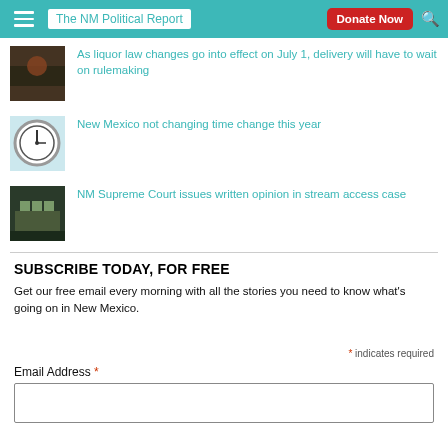The NM Political Report
As liquor law changes go into effect on July 1, delivery will have to wait on rulemaking
New Mexico not changing time change this year
NM Supreme Court issues written opinion in stream access case
SUBSCRIBE TODAY, FOR FREE
Get our free email every morning with all the stories you need to know what's going on in New Mexico.
* indicates required
Email Address *